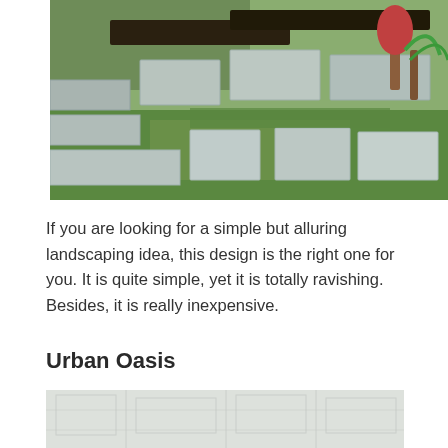[Figure (photo): Landscaped garden with large flat stone pavers arranged as a pathway/steps, surrounded by green grass and ornamental plants]
If you are looking for a simple but alluring landscaping idea, this design is the right one for you. It is quite simple, yet it is totally ravishing. Besides, it is really inexpensive.
Urban Oasis
[Figure (photo): Partially visible photo of an urban outdoor patio or garden space, appears washed out/light]